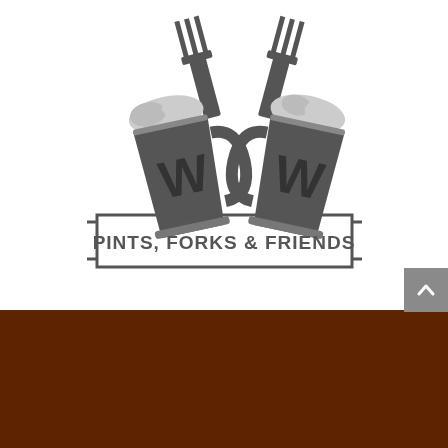[Figure (logo): Pints, Forks & Friends logo in grayscale: two beer mugs clinking with forks above them, and a rectangular banner reading 'PINTS, FORKS & FRIENDS' with a TM mark]
[Figure (logo): Partial Pints, Forks & Friends logo repeated on dark brown background, showing tops of forks and beer mugs, cropped at bottom of page]